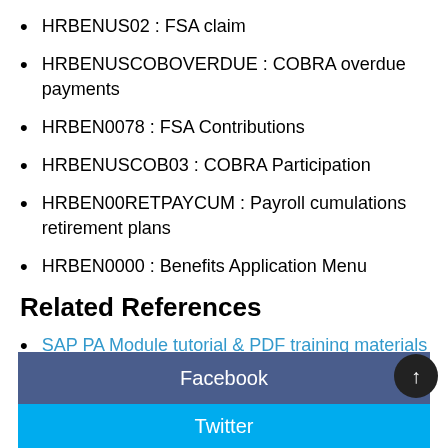HRBENUS02 : FSA claim
HRBENUSCOBOVERDUE : COBRA overdue payments
HRBEN0078 : FSA Contributions
HRBENUSCOB03 : COBRA Participation
HRBEN00RETPAYCUM : Payroll cumulations retirement plans
HRBEN0000 : Benefits Application Menu
Related References
SAP PA Module tutorial & PDF training materials